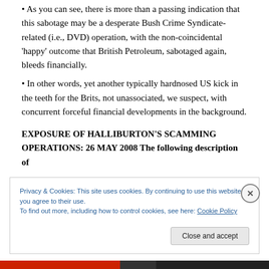As you can see, there is more than a passing indication that this sabotage may be a desperate Bush Crime Syndicate-related (i.e., DVD) operation, with the non-coincidental ‘happy’ outcome that British Petroleum, sabotaged again, bleeds financially.
In other words, yet another typically hardnosed US kick in the teeth for the Brits, not unassociated, we suspect, with concurrent forceful financial developments in the background.
EXPOSURE OF HALLIBURTON’S SCAMMING OPERATIONS: 26 MAY 2008 The following description of
Privacy & Cookies: This site uses cookies. By continuing to use this website, you agree to their use.
To find out more, including how to control cookies, see here: Cookie Policy
Close and accept